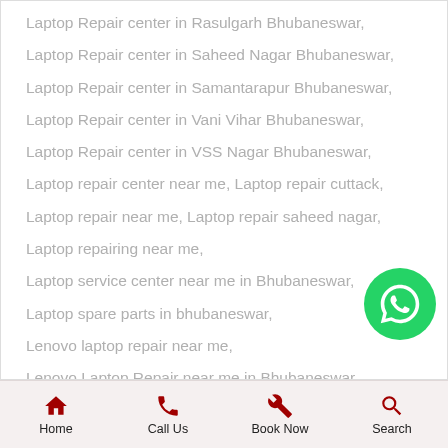Laptop Repair center in Rasulgarh Bhubaneswar,
Laptop Repair center in Saheed Nagar Bhubaneswar,
Laptop Repair center in Samantarapur Bhubaneswar,
Laptop Repair center in Vani Vihar Bhubaneswar,
Laptop Repair center in VSS Nagar Bhubaneswar,
Laptop repair center near me, Laptop repair cuttack,
Laptop repair near me, Laptop repair saheed nagar,
Laptop repairing near me,
Laptop service center near me in Bhubaneswar,
Laptop spare parts in bhubaneswar,
Lenovo laptop repair near me,
Lenovo Laptop Repair near me in Bhubaneswar,
Lenovo laptop service center bhubaneswar,
Home  Call Us  Book Now  Search